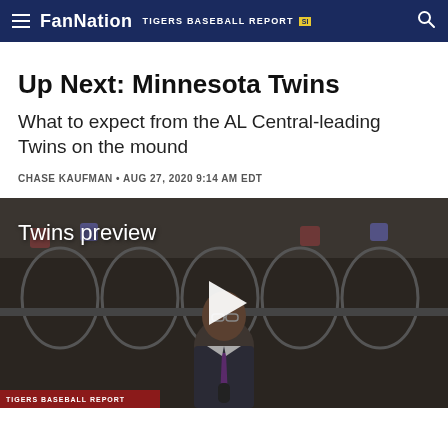FanNation  TIGERS BASEBALL REPORT
Up Next: Minnesota Twins
What to expect from the AL Central-leading Twins on the mound
CHASE KAUFMAN • AUG 27, 2020 9:14 AM EDT
[Figure (screenshot): Video thumbnail showing a reporter standing outside a stadium with a play button overlay. Text overlay reads 'Twins preview'. A red banner at the bottom reads 'TIGERS BASEBALL REPORT'.]